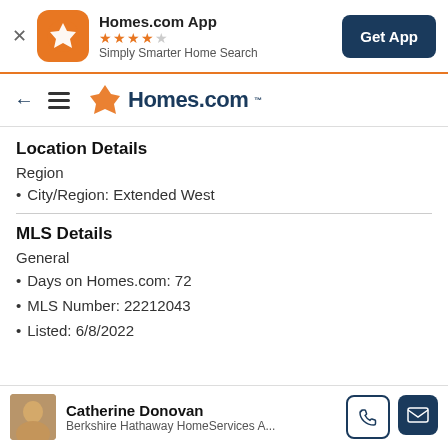[Figure (screenshot): Homes.com app banner with orange icon, star rating, tagline, and Get App button]
[Figure (logo): Homes.com navigation bar with back arrow, hamburger menu, and Homes.com logo]
Location Details
Region
City/Region: Extended West
MLS Details
General
Days on Homes.com: 72
MLS Number: 22212043
Listed: 6/8/2022
Catherine Donovan
Berkshire Hathaway HomeServices A...